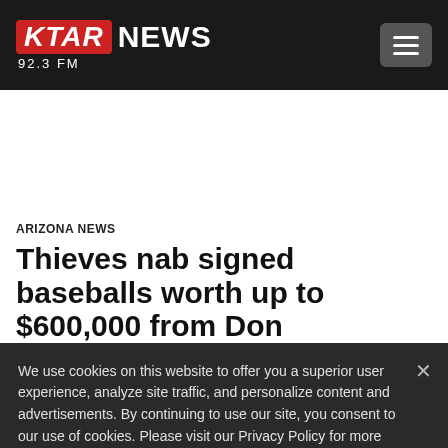KTAR NEWS 92.3 FM
[Figure (logo): KTAR News 92.3 FM logo with red KTAR box and white NEWS text, plus hamburger menu button]
ARIZONA NEWS
Thieves nab signed baseballs worth up to $600,000 from Don
We use cookies on this website to offer you a superior user experience, analyze site traffic, and personalize content and advertisements. By continuing to use our site, you consent to our use of cookies. Please visit our Privacy Policy for more information.